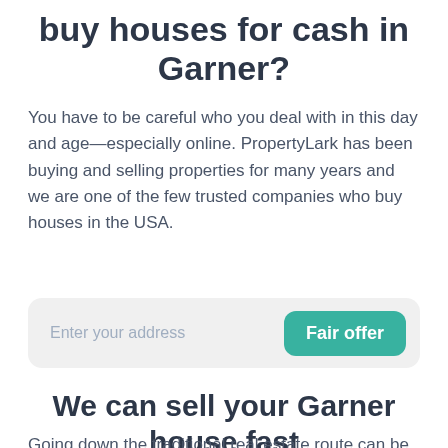buy houses for cash in Garner?
You have to be careful who you deal with in this day and age—especially online. PropertyLark has been buying and selling properties for many years and we are one of the few trusted companies who buy houses in the USA.
[Figure (other): Address input form with placeholder text 'Enter your address' and a teal 'Fair offer' button]
We can sell your Garner house fast
Going down the traditional real estate route can be time consuming and also cause more stress! You will have commissions and other